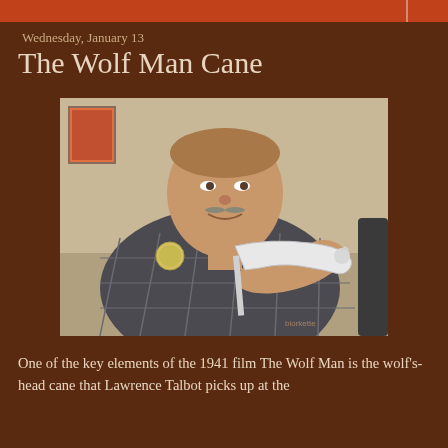Wednesday, January 13
The Wolf Man Cane
[Figure (photo): An elderly man sitting at a table, smiling and holding up a white wolf's-head cane toward the camera. He is wearing a plaid shirt and has a button/badge on his chest. A small framed photo is visible in the upper left background.]
One of the key elements of the 1941 film The Wolf Man is the wolf's-head cane that Lawrence Talbot picks up at the